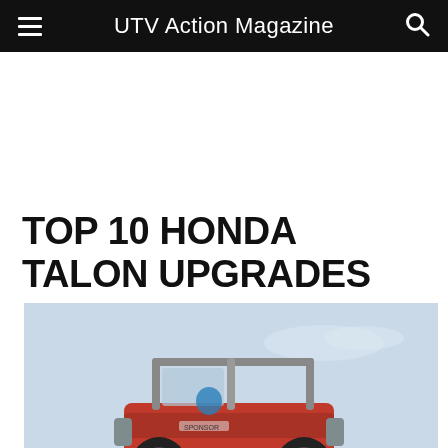UTV Action Magazine
TOP 10 HONDA TALON UPGRADES
[Figure (photo): A red Honda Talon UTV race vehicle mid-air jump against a light blue sky, with roll cage visible and sponsor decals on the side panels.]